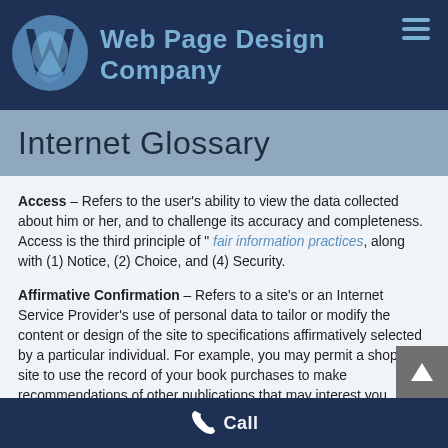Web Page Design Company
Internet Glossary
Access – Refers to the user's ability to view the data collected about him or her, and to challenge its accuracy and completeness. Access is the third principle of " fair information practices, along with (1) Notice, (2) Choice, and (4) Security.
Affirmative Confirmation – Refers to a site's or an Internet Service Provider's use of personal data to tailor or modify the content or design of the site to specifications affirmatively selected by a particular individual. For example, you may permit a shopping site to use the record of your book purchases to make recommendations of other publications that may interest you.
Call